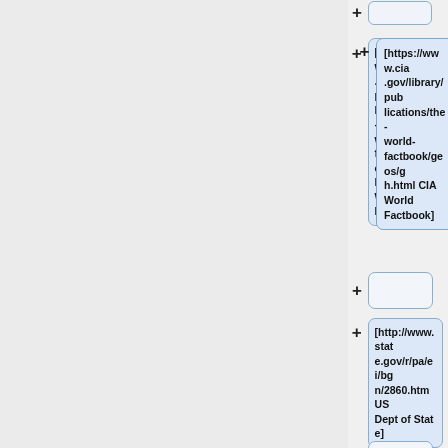[Figure (flowchart): A vertical tree/flowchart interface showing Wikipedia-style reference nodes. Left panel is gray (navigation/outline area). Right side shows a series of expandable nodes with '+' buttons, containing links: '[https://www.cia.gov/library/publications/the-world-factbook/geos/gh.html CIA World Factbook]', an empty node, '[http://www.state.gov/r/pa/ei/bgn/2860.htm US Dept of State]', another empty node, and '[http://www.statsghana.gov.gh/ Ghana Statistical Service]' (partially visible).]